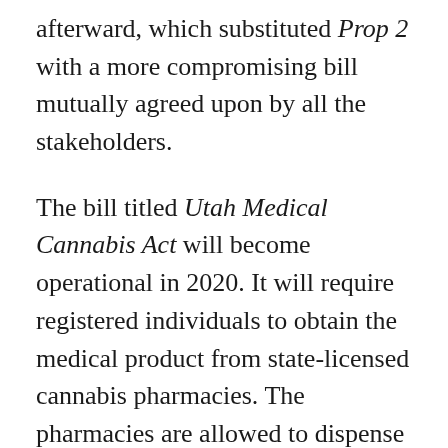afterward, which substituted Prop 2 with a more compromising bill mutually agreed upon by all the stakeholders.
The bill titled Utah Medical Cannabis Act will become operational in 2020. It will require registered individuals to obtain the medical product from state-licensed cannabis pharmacies. The pharmacies are allowed to dispense weed only in precise dosages based on a particular patient's prescribed medical needs.
To register as a patient, a Utahn shall be submitting an application to the UDOH –